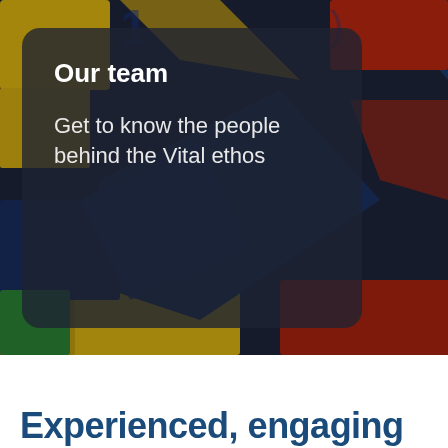[Figure (photo): Background photo of colorful plastic building blocks/bricks in yellow, red, blue, green colors scattered together, with a dark semi-transparent overlay card on top]
Our team
Get to know the people behind the Vital ethos
Experienced, engaging